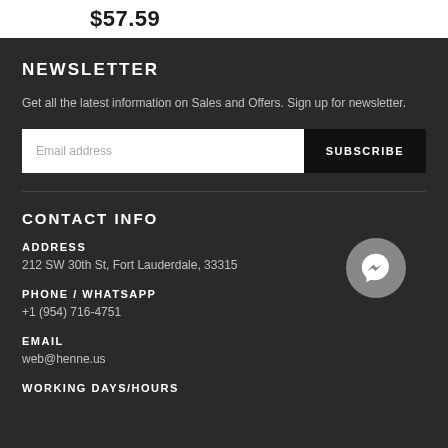$57.59
NEWSLETTER
Get all the latest information on Sales and Offers. Sign up for newsletter.
Email address | SUBSCRIBE
CONTACT INFO
ADDRESS
212 SW 30th St, Fort Lauderdale, 33315
PHONE / WHATSAPP
+1 (954) 716-4751
EMAIL
web@henne.us
WORKING DAYS/HOURS